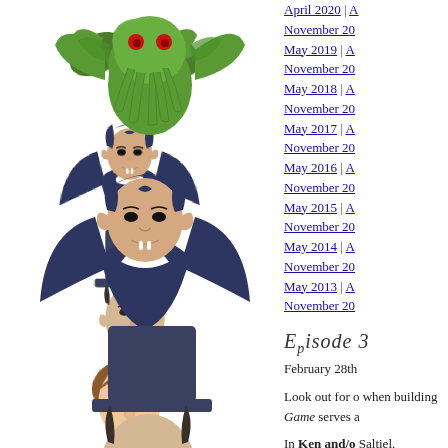[Figure (illustration): Cartoon Cthulhu monster illustration, green with bat wings and tentacles]
[Figure (illustration): Cartoon vampire/Dracula illustration, dark blue cape with fangs]
[Figure (illustration): Cartoon Abraham Lincoln illustration with top hat]
[Figure (illustration): Cartoon brown-haired man illustration (head visible)]
April 2020 | A
November 20
May 2019 | A
November 20
May 2018 | A
November 20
May 2017 | A
November 20
May 2016 | A
November 20
May 2015 | A
November 20
May 2014 | A
November 20
May 2013 | A
November 20
Episode 3
February 28th
Look out for o when building Game serves a
In Ken and/o Saltiel.
Beloved Patre